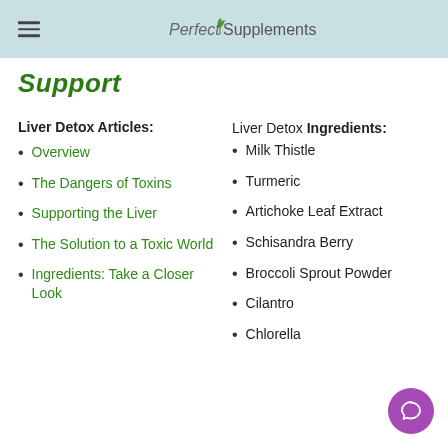Perfect Supplements
Support
Liver Detox Articles:
Overview
The Dangers of Toxins
Supporting the Liver
The Solution to a Toxic World
Ingredients: Take a Closer Look
Liver Detox Ingredients:
Milk Thistle
Turmeric
Artichoke Leaf Extract
Schisandra Berry
Broccoli Sprout Powder
Cilantro
Chlorella